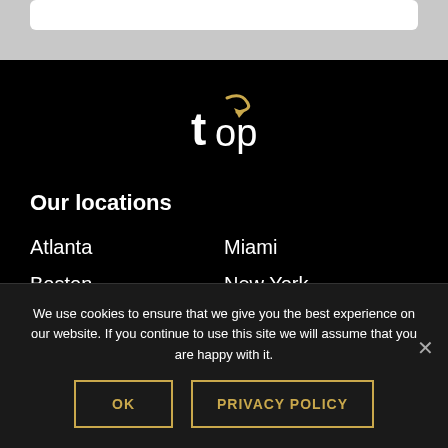[Figure (logo): Top logo with golden arrow on black background]
Our locations
Atlanta
Miami
Boston
New York
We use cookies to ensure that we give you the best experience on our website. If you continue to use this site we will assume that you are happy with it.
OK
PRIVACY POLICY